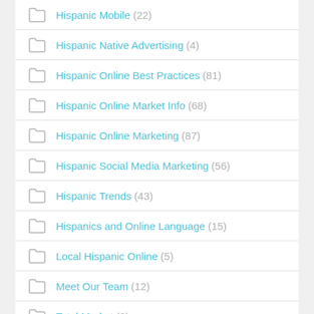Hispanic Mobile (22)
Hispanic Native Advertising (4)
Hispanic Online Best Practices (81)
Hispanic Online Market Info (68)
Hispanic Online Marketing (87)
Hispanic Social Media Marketing (56)
Hispanic Trends (43)
Hispanics and Online Language (15)
Local Hispanic Online (5)
Meet Our Team (12)
Total Market (8)
Uncategorized (5)